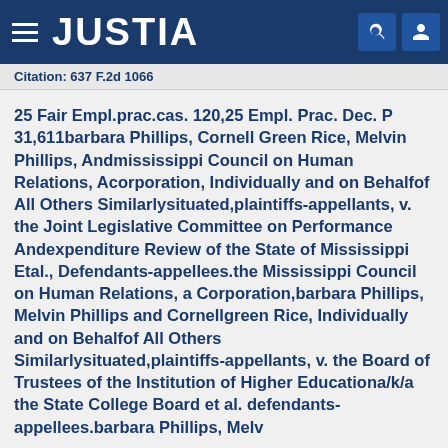JUSTIA
Citation: 637 F.2d 1066
25 Fair Empl.prac.cas. 120,25 Empl. Prac. Dec. P 31,611barbara Phillips, Cornell Green Rice, Melvin Phillips, Andmississippi Council on Human Relations, Acorporation, Individually and on Behalfof All Others Similarlysituated,plaintiffs-appellants, v. the Joint Legislative Committee on Performance Andexpenditure Review of the State of Mississippi Etal., Defendants-appellees.the Mississippi Council on Human Relations, a Corporation,barbara Phillips, Melvin Phillips and Cornellgreen Rice, Individually and on Behalfof All Others Similarlysituated,plaintiffs-appellants, v. the Board of Trustees of the Institution of Higher Educationa/k/a the State College Board et al. defendants-appellees.barbara Phillips, Melvin